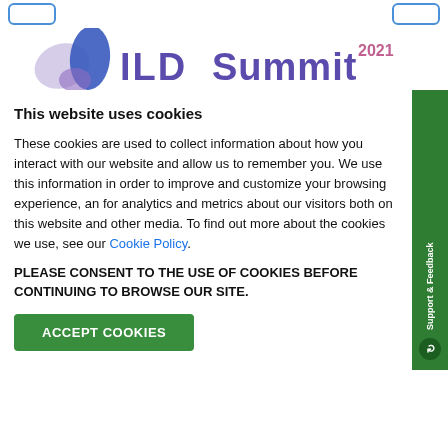[Figure (logo): ILD Summit 2021 logo with purple/blue teardrop shapes]
This website uses cookies
These cookies are used to collect information about how you interact with our website and allow us to remember you. We use this information in order to improve and customize your browsing experience, and for analytics and metrics about our visitors both on this website and other media. To find out more about the cookies we use, see our Cookie Policy.
PLEASE CONSENT TO THE USE OF COOKIES BEFORE CONTINUING TO BROWSE OUR SITE.
ACCEPT COOKIES